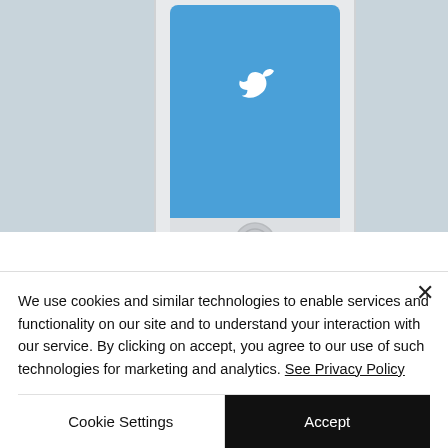[Figure (photo): Smartphone with Twitter app displayed on screen, shown at an angle on a light blue-gray background. Only the top portion of the phone is visible.]
WEBSITE DEVELOPMENT
Websites are the face of your company. We're here to create a user friendly, appealing website that utilizes current market SEO...
We use cookies and similar technologies to enable services and functionality on our site and to understand your interaction with our service. By clicking on accept, you agree to our use of such technologies for marketing and analytics. See Privacy Policy